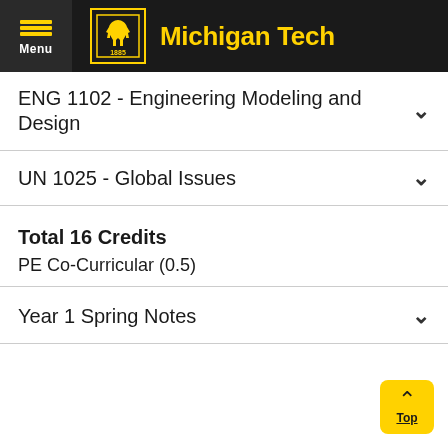Michigan Tech
ENG 1102 - Engineering Modeling and Design
UN 1025 - Global Issues
Total 16 Credits
PE Co-Curricular (0.5)
Year 1 Spring Notes